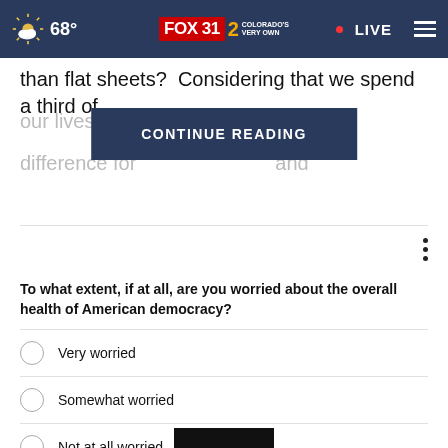FOX 31 2 COLORADO'S VERY OWN | 68° | LIVE
than flat sheets?  Considering that we spend a third of our lives in bed... a big difference for... and
CONTINUE READING
To what extent, if at all, are you worried about the overall health of American democracy?
Very worried
Somewhat worried
Not at all worried
Other / No opinion